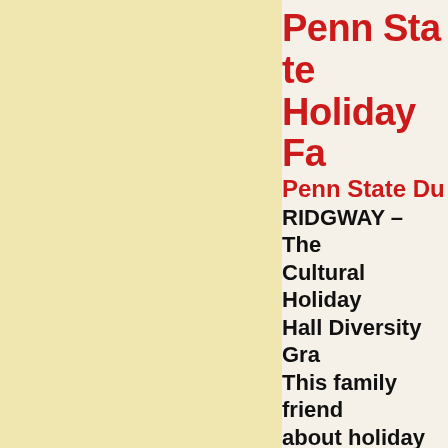Penn State Holiday F…
Penn State Du…
RIDGWAY – The Cultural Holiday Hall Diversity Gr…
This family frien… about holiday tra…
The evening will such as Christma… holidays, includi…